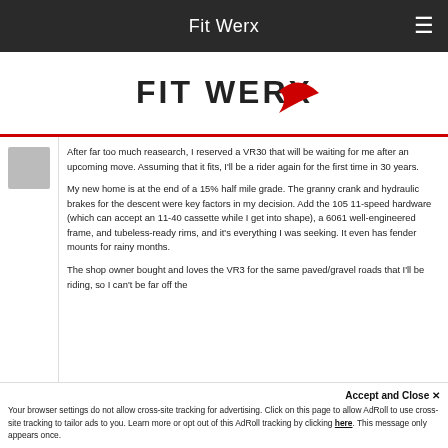Fit Werx
[Figure (logo): Fit Werx logo with red swoosh graphic and bold text reading FIT WERX]
After far too much reasearch, I reserved a VR30 that will be waiting for me after an upcoming move. Assuming that it fits, I'll be a rider again for the first time in 30 years.
My new home is at the end of a 15% half mile grade. The granny crank and hydraulic brakes for the descent were key factors in my decision. Add the 105 11-speed hardware (which can accept an 11-40 cassette while I get into shape), a 6061 well-engineered frame, and tubeless-ready rims, and it's everything I was seeking. It even has fender mounts for rainy months.
The shop owner bought and loves the VR3 for the same paved/gravel roads that I'll be riding, so I can't be far off the
Accept and Close ✕
Your browser settings do not allow cross-site tracking for advertising. Click on this page to allow AdRoll to use cross-site tracking to tailor ads to you. Learn more or opt out of this AdRoll tracking by clicking here. This message only appears once.